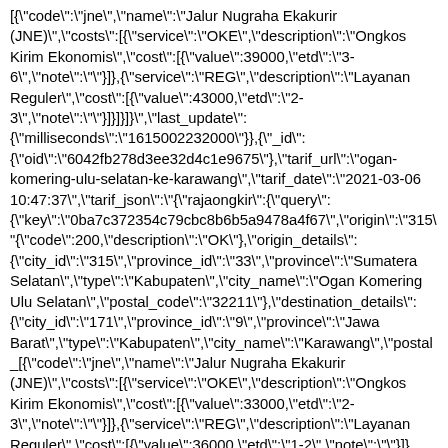[{"code":"jne","name":"Jalur Nugraha Ekakurir (JNE)","costs":[{"service":"OKE","description":"Ongkos Kirim Ekonomis","cost":[{"value":39000,"etd":"3-6","note":""}]},{"service":"REG","description":"Layanan Reguler","cost":[{"value":43000,"etd":"2-3","note":""}]}]}]}","last_update":{"milliseconds":"1615002232000"}},{"_id":{"oid":"6042fb278d3ee32d4c1e9675"},"tarif_url":"ogan-komering-ulu-selatan-ke-karawang","tarif_date":"2021-03-06 10:47:37","tarif_json":"{\"rajaongkir\":{\"query\":{\"key\":\"0ba7c372354c79cbc8b6b5a9478a4f67\",\"origin\":\"315\"{\"code\":200,\"description\":\"OK\"},\"origin_details\":{\"city_id\":\"315\",\"province_id\":\"33\",\"province\":\"Sumatera Selatan\",\"type\":\"Kabupaten\",\"city_name\":\"Ogan Komering Ulu Selatan\",\"postal_code\":\"32211\"},\"destination_details\":{\"city_id\":\"171\",\"province_id\":\"9\",\"province\":\"Jawa Barat\",\"type\":\"Kabupaten\",\"city_name\":\"Karawang\",\"postal_[{\"code\":\"jne\",\"name\":\"Jalur Nugraha Ekakurir (JNE)\",\"costs\":[{\"service\":\"OKE\",\"description\":\"Ongkos Kirim Ekonomis\",\"cost\":[{\"value\":33000,\"etd\":\"2-3\",\"note\":\"\"}]},{\"service\":\"REG\",\"description\":\"Layanan Reguler\",\"cost\":[{\"value\":36000,\"etd\":\"1-2\",\"note\":\"\"}]},{\"service\":\"YES\",\"description\":\"Yakin Esok Sampai\",\"cost\":[{\"value\":49000,\"etd\":\"1-1\",\"note\":\"\"}]}]}]}}}" "last_update":